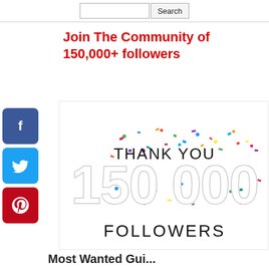Search
Join The Community of 150,000+ followers
[Figure (illustration): Thank you 150,000 followers celebration image with colorful confetti and large white numbers on white background]
Most Wanted Gui...